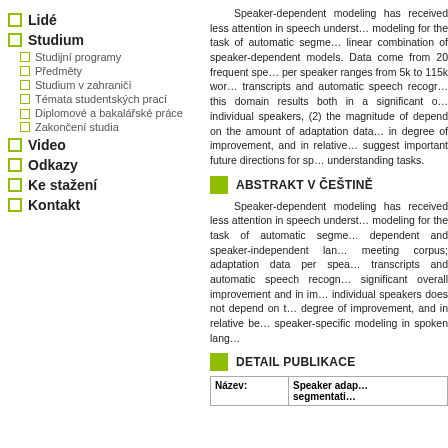Lidé
Studium
Studijní programy
Předměty
Studium v zahraničí
Témata studentských prací
Diplomové a bakalářské práce
Zakončení studia
Video
Odkazy
Ke stažení
Kontakt
Speaker-dependent modeling has received less attention in speech understanding. modeling for the task of automatic segmentation; linear combination of speaker-dependent models. Data come from 20 frequent speakers; per speaker ranges from 5k to 115k words; transcripts and automatic speech recognition; this domain results both in a significant overall improvement for individual speakers, (2) the magnitude of improvement does not depend on the amount of adaptation data; in degree of improvement, and in relative benefit suggest important future directions for speech understanding tasks.
ABSTRAKT V ČEŠTINĚ
Speaker-dependent modeling has received less attention in speech understanding. modeling for the task of automatic segmentation; dependent and speaker-independent language meeting corpus; adaptation data per speaker; transcripts and automatic speech recognition; significant overall improvement and in improvement for individual speakers does not depend on the amount of degree of improvement, and in relative benefit speaker-specific modeling in spoken language.
DETAIL PUBLIKACE
| Název: | Speaker adaptation for segmentation... |
| --- | --- |